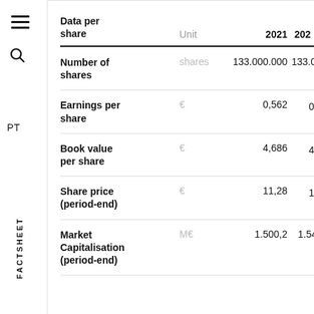| Data per share | Unit | 2021 | 2022 |
| --- | --- | --- | --- |
| Number of shares | shares | 133.000.000 | 133.000.000 |
| Earnings per share | € | 0,562 | 0,48 |
| Book value per share | € | 4,686 | 4,3 |
| Share price (period-end) | € | 11,28 | 11,6 |
| Market Capitalisation (period-end) | M€ | 1.500,2 | 1.542 |